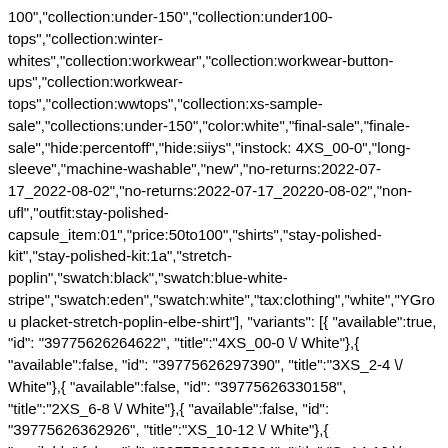100","collection:under-150","collection:under100-tops","collection:winter-whites","collection:workwear","collection:workwear-button-ups","collection:workwear-tops","collection:wwtops","collection:xs-sample-sale","collections:under-150","color:white","final-sale","finale-sale","hide:percentoff","hide:siiys","instock: 4XS_00-0","long-sleeve","machine-washable","new","no-returns:2022-07-17_2022-08-02","no-returns:2022-07-17_20220-08-02","non-ufl","outfit:stay-polished-capsule_item:01","price:50to100","shirts","stay-polished-kit","stay-polished-kit:1a","stretch-poplin","swatch:black","swatch:blue-white-stripe","swatch:eden","swatch:white","tax:clothing","white","YGrou placket-stretch-poplin-elbe-shirt"], "variants": [{ "available":true, "id": "39775626264622", "title":"4XS_00-0 \/ White"},{ "available":false, "id": "39775626297390", "title":"3XS_2-4 \/ White"},{ "available":false, "id": "39775626330158", "title":"2XS_6-8 \/ White"},{ "available":false, "id": "39775626362926", "title":"XS_10-12 \/ White"},{ "available":false, "id": "39775626395694", "title":"S_14-16 \/ White"},{ "available":false, "id": "39775626428462", "title":"M_18-20 \/ White"},{ "available":false, "id": "39775626461230", "title":"L_22-24 \/ White"},{ "available":false, "id": "39775626493998", "title":"XL_26-28 \/"